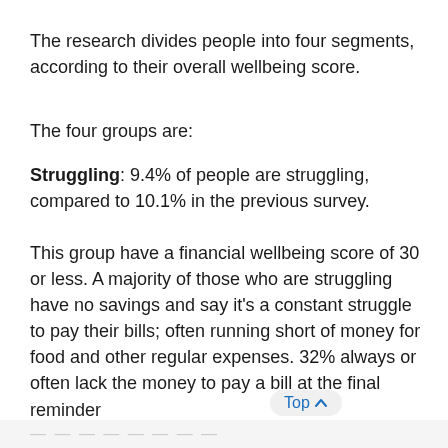The research divides people into four segments, according to their overall wellbeing score.
The four groups are:
Struggling: 9.4% of people are struggling, compared to 10.1% in the previous survey.
This group have a financial wellbeing score of 30 or less. A majority of those who are struggling have no savings and say it's a constant struggle to pay their bills; often running short of money for food and other regular expenses. 32% always or often lack the money to pay a bill at the final reminder